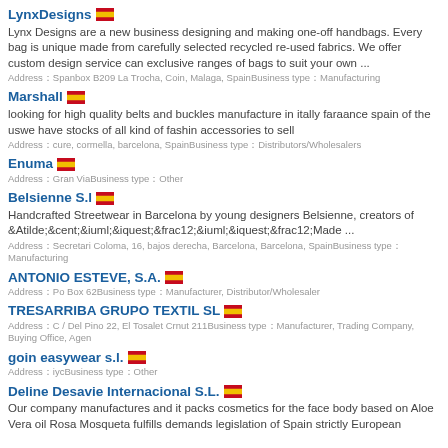LynxDesigns 🇪🇸
Lynx Designs are a new business designing and making one-off handbags. Every bag is unique made from carefully selected recycled re-used fabrics. We offer custom design service can exclusive ranges of bags to suit your own ...
Address：Spanbox B209 La Trocha, Coin, Malaga, SpainBusiness type：Manufacturing
Marshall 🇪🇸
looking for high quality belts and buckles manufacture in itally faraance spain of the uswe have stocks of all kind of fashin accessories to sell
Address：cure, cormella, barcelona, SpainBusiness type：Distributors/Wholesalers
Enuma 🇪🇸
Address：Gran ViaBusiness type：Other
Belsienne S.l 🇪🇸
Handcrafted Streetwear in Barcelona by young designers Belsienne, creators of &Atilde;&cent;&iuml;&iquest;&frac12;&iuml;&iquest;&frac12;Made ...
Address：Secretari Coloma, 16, bajos derecha, Barcelona, Barcelona, SpainBusiness type：Manufacturing
ANTONIO ESTEVE, S.A. 🇪🇸
Address：Po Box 62Business type：Manufacturer, Distributor/Wholesaler
TRESARRIBA GRUPO TEXTIL SL 🇪🇸
Address：C / Del Pino 22, El Tosalet Crnut 211Business type：Manufacturer, Trading Company, Buying Office, Agen
goin easywear s.l. 🇪🇸
Address：iycBusiness type：Other
Deline Desavie Internacional S.L. 🇪🇸
Our company manufactures and it packs cosmetics for the face body based on Aloe Vera oil Rosa Mosqueta fulfills demands legislation of Spain strictly European